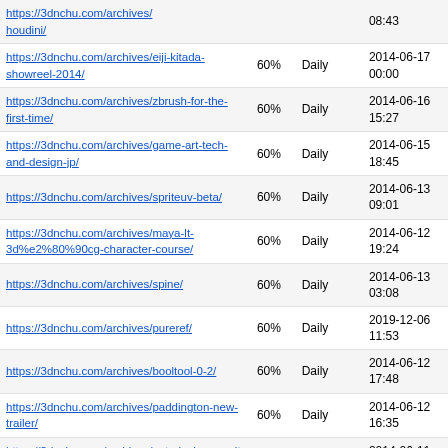| URL | Priority | Change Freq | Last Modified |
| --- | --- | --- | --- |
| https://3dnchu.com/archives/houdini/ | 60% | Daily | 08:43 |
| https://3dnchu.com/archives/eiji-kitada-showreel-2014/ | 60% | Daily | 2014-06-17 00:00 |
| https://3dnchu.com/archives/zbrush-for-the-first-time/ | 60% | Daily | 2014-06-16 15:27 |
| https://3dnchu.com/archives/game-art-tech-and-design-jp/ | 60% | Daily | 2014-06-15 18:45 |
| https://3dnchu.com/archives/spriteuv-beta/ | 60% | Daily | 2014-06-13 09:01 |
| https://3dnchu.com/archives/maya-lt-3d%e2%80%90cg-character-course/ | 60% | Daily | 2014-06-12 19:24 |
| https://3dnchu.com/archives/spine/ | 60% | Daily | 2014-06-13 03:08 |
| https://3dnchu.com/archives/pureref/ | 60% | Daily | 2019-12-06 11:53 |
| https://3dnchu.com/archives/booltool-0-2/ | 60% | Daily | 2014-06-12 17:48 |
| https://3dnchu.com/archives/paddington-new-trailer/ | 60% | Daily | 2014-06-12 16:35 |
| https://3dnchu.com/archives/autodesk-maya-lt-price-down/ | 60% | Daily | 2014-06-11 17:45 |
| https://3dnchu.com/archives/substance-showreel-june-2014/ | 60% | Daily | 2014-06-11 17:13 |
| https://3dnchu.com/archives/quixel-suite-open-beta/ | 60% | Daily | 2016-03-10 12:19 |
| https://3dnchu.com/archives/nike-football-the-last-game/ | 60% | Daily | 2014-06-11 03:43 |
| https://3dnchu.com/archives/3dcg-3d-printer-digital-modeling-2014/ | 60% | Daily | 2014-06-11 03:19 |
| https://3dnchu.com/archives/anatomy-sculpting-tech-book/ | 60% | Daily | 2014-07-09 17:29 |
| https://3dnchu.com/archives/e3-2014-new-... | 60% | Daily | 2014-06-16 |